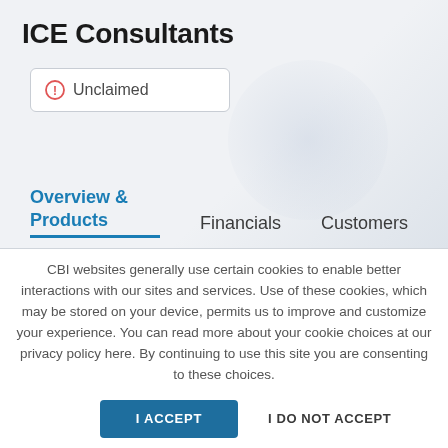ICE Consultants
Unclaimed
ice-consultants.com
Overview & Products
Financials
Customers
CBI websites generally use certain cookies to enable better interactions with our sites and services. Use of these cookies, which may be stored on your device, permits us to improve and customize your experience. You can read more about your cookie choices at our privacy policy here. By continuing to use this site you are consenting to these choices.
I ACCEPT
I DO NOT ACCEPT